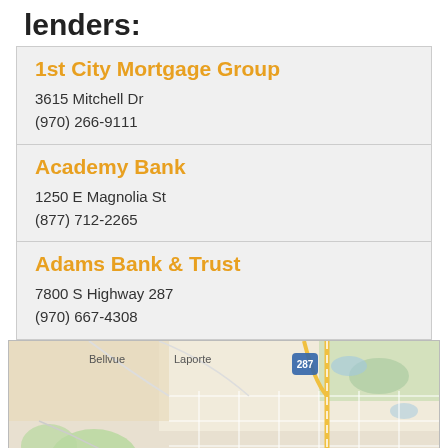lenders:
1st City Mortgage Group
3615 Mitchell Dr
(970) 266-9111
Academy Bank
1250 E Magnolia St
(877) 712-2265
Adams Bank & Trust
7800 S Highway 287
(970) 667-4308
[Figure (map): Google Maps view of Fort Collins, CO area showing Bellvue, Laporte, Lory State Park, Fort Collins, Arrowhead, and highway 287 and 14.]